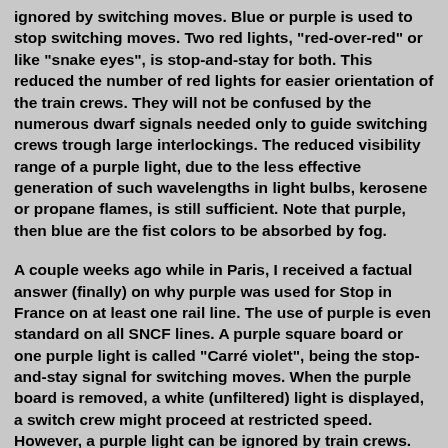ignored by switching moves. Blue or purple is used to stop switching moves. Two red lights, "red-over-red" or like "snake eyes", is stop-and-stay for both. This reduced the number of red lights for easier orientation of the train crews. They will not be confused by the numerous dwarf signals needed only to guide switching crews trough large interlockings. The reduced visibility range of a purple light, due to the less effective generation of such wavelengths in light bulbs, kerosene or propane flames, is still sufficient. Note that purple, then blue are the fist colors to be absorbed by fog.
A couple weeks ago while in Paris, I received a factual answer (finally) on why purple was used for Stop in France on at least one rail line. The use of purple is even standard on all SNCF lines. A purple square board or one purple light is called "Carré violet", being the stop-and-stay signal for switching moves. When the purple board is removed, a white (unfiltered) light is displayed, a switch crew might proceed at restricted speed. However, a purple light can be ignored by train crews.